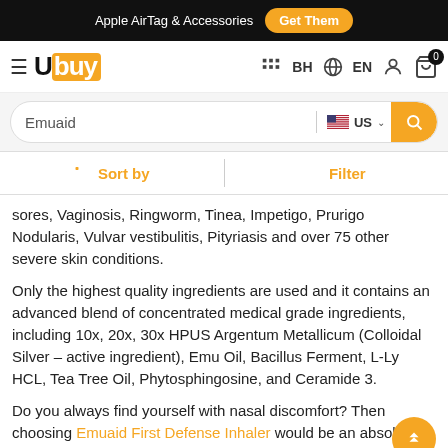Apple AirTag & Accessories  Get Them
Ubuy — BH EN navigation bar with cart (0)
Search: Emuaid — US
Sort by  |  Filter
sores, Vaginosis, Ringworm, Tinea, Impetigo, Prurigo Nodularis, Vulvar vestibulitis, Pityriasis and over 75 other severe skin conditions.
Only the highest quality ingredients are used and it contains an advanced blend of concentrated medical grade ingredients, including 10x, 20x, 30x HPUS Argentum Metallicum (Colloidal Silver – active ingredient), Emu Oil, Bacillus Ferment, L-Ly HCL, Tea Tree Oil, Phytosphingosine, and Ceramide 3.
Do you always find yourself with nasal discomfort? Then choosing Emuaid First Defense Inhaler would be an absolutely fine choice to make. It has a powerful, protective blend of